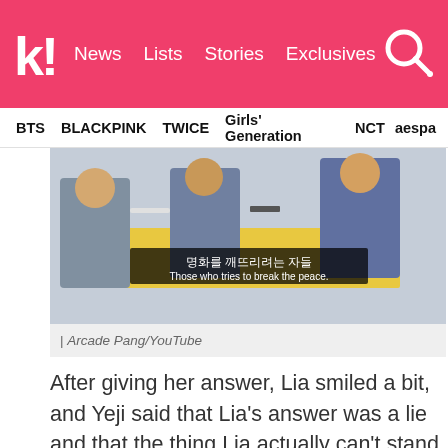k! | News | Lists | Stories | Exclusives
BTS | BLACKPINK | TWICE | Girls' Generation | NCT | aespa
[Figure (photo): Screenshot from Arcade Pang YouTube video showing people sitting around a table with Korean subtitle text '명화를 깨뜨리려는 자들' and English subtitle 'Those who tries to break the peace.']
| Arcade Pang/YouTube
After giving her answer, Lia smiled a bit, and Yeji said that Lia's answer was a lie and that the thing Lia actually can't stand is hunger!
[Figure (photo): Group of young women (K-pop group members) sitting in a room with bookshelves, smiling and reacting during what appears to be a variety show or YouTube video.]